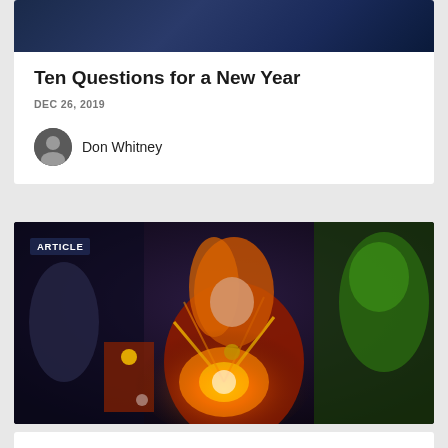[Figure (illustration): Dark navy/blue gradient banner image at the top of the first card]
Ten Questions for a New Year
DEC 26, 2019
Don Whitney
[Figure (photo): Marvel superhero movie artwork featuring Captain Marvel in red suit with energy beams, surrounded by other Marvel heroes including Iron Man and Hulk, with ARTICLE badge overlay]